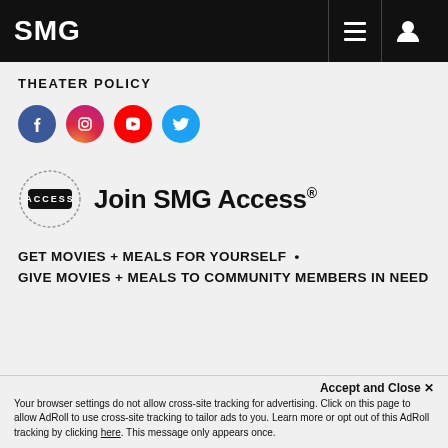SMG
THEATER POLICY
[Figure (illustration): Row of four social media icons: Facebook (blue circle), Instagram (gradient circle), YouTube (red circle), Twitter (light blue circle)]
[Figure (logo): SMG Access badge logo with oval shape and ACCESS text inside]
Join SMG Access®
GET MOVIES + MEALS FOR YOURSELF • GIVE MOVIES + MEALS TO COMMUNITY MEMBERS IN NEED
Accept and Close ✕
Your browser settings do not allow cross-site tracking for advertising. Click on this page to allow AdRoll to use cross-site tracking to tailor ads to you. Learn more or opt out of this AdRoll tracking by clicking here. This message only appears once.